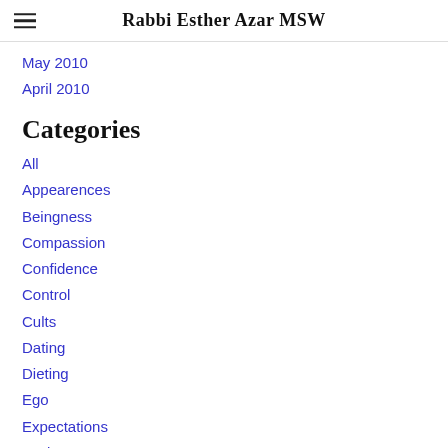Rabbi Esther Azar MSW
May 2010
April 2010
Categories
All
Appearences
Beingness
Compassion
Confidence
Control
Cults
Dating
Dieting
Ego
Expectations
Facing Fear
Fear
Fitting In